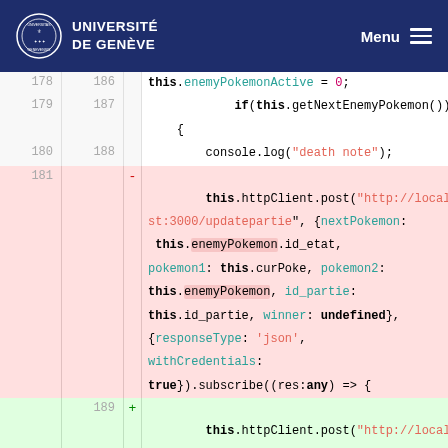UNIVERSITÉ DE GENÈVE | Menu
[Figure (screenshot): Code diff view showing TypeScript/JavaScript code with line numbers, diff markers, and syntax highlighting. Lines 178-181 (deleted, red background) and lines 187-189 (added, green background) showing httpClient.post calls with Pokemon game logic.]